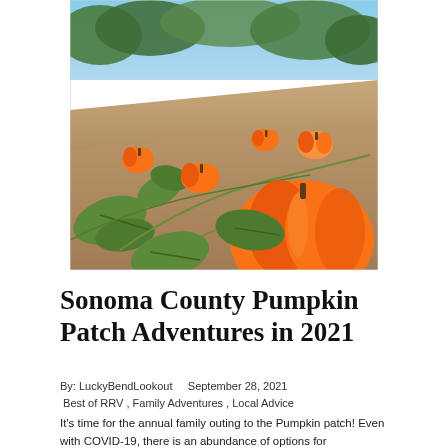[Figure (photo): Outdoor pumpkin patch field with large orange pumpkins on sandy soil, green leaves and vines, and trees/bushes in the background on a sunny day.]
Sonoma County Pumpkin Patch Adventures in 2021
By: LuckyBendLookout   September 28, 2021
 Best of RRV , Family Adventures , Local Advice
It's time for the annual family outing to the Pumpkin patch! Even with COVID-19, there is an abundance of options for